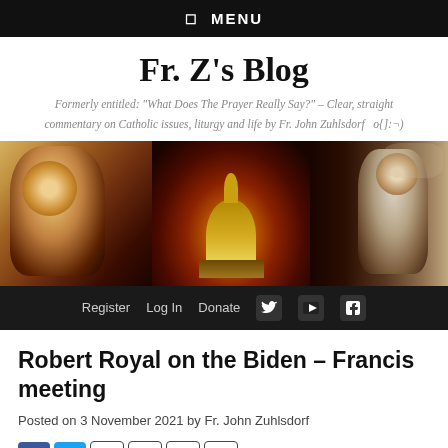☰  MENU
Fr. Z's Blog
Formerly entitled: "What Does The Prayer Really Say?" – Clear, straight commentary on Catholic issues, liturgy and life by Fr. John Zuhlsdorf   o{]:¬)
[Figure (photo): Header banner with three panels: left panel shows a priest in gold vestments, center panel shows St. Peter's Basilica dome illuminated at night against a red sky, right panel shows a priest at an altar with hands raised]
Register   Log In   Donate
Robert Royal on the Biden – Francis meeting
Posted on 3 November 2021 by Fr. John Zuhlsdorf
[Figure (infographic): Social share icons row: Facebook (f), Twitter bird, Share (%), MeWe (MW), Email (envelope), Plus (+)]